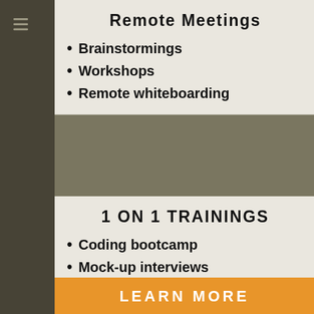Remote Meetings
Brainstormings
Workshops
Remote whiteboarding
1 ON 1 TRAININGS
Coding bootcamp
Mock-up interviews
After-class lectures
Individual Collaborations
Virtual Hackathons
College TA Sessions
LEARN MORE